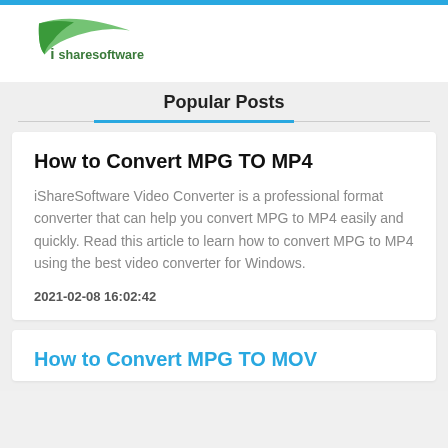[Figure (logo): iShareSoftware logo with green swoosh and green text]
Popular Posts
How to Convert MPG TO MP4
iShareSoftware Video Converter is a professional format converter that can help you convert MPG to MP4 easily and quickly. Read this article to learn how to convert MPG to MP4 using the best video converter for Windows.
2021-02-08 16:02:42
How to Convert MPG TO MOV